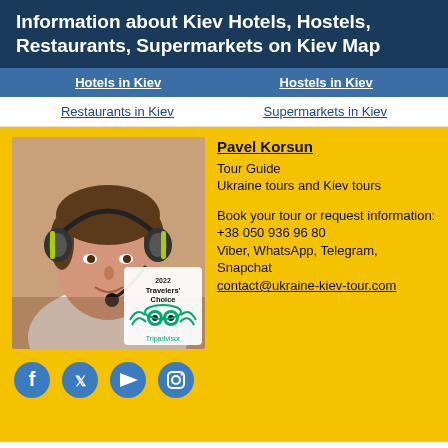Information about Kiev Hotels, Hostels, Restaurants, Supermarkets on Kiev Map
Hotels in Kiev | Hostels in Kiev
Restaurants in Kiev | Supermarkets in Kiev
[Figure (photo): Photo of Pavel Korsun wearing a headset with Tripadvisor Travelers' Choice 2022 badge overlaid]
Pavel Korsun
Tour Guide
Ukraine tours and Kiev tours

Book your tour or request information:
+38 050 936 96 80
Viber, WhatsApp, Telegram, Snapchat
contact@ukraine-kiev-tour.com
[Figure (illustration): Social media icons: Facebook, Twitter, YouTube, Instagram]